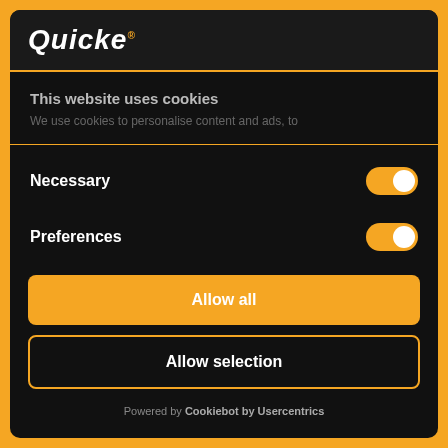[Figure (logo): Quicke logo in white italic bold font on dark background]
This website uses cookies
We use cookies to personalise content and ads, to
Necessary
Preferences
Allow all
Allow selection
Powered by Cookiebot by Usercentrics